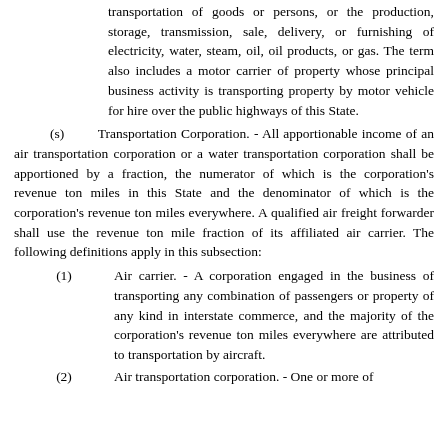for the transmission of communications, the transportation of goods or persons, or the production, storage, transmission, sale, delivery, or furnishing of electricity, water, steam, oil, oil products, or gas. The term also includes a motor carrier of property whose principal business activity is transporting property by motor vehicle for hire over the public highways of this State.
(s) Transportation Corporation. - All apportionable income of an air transportation corporation or a water transportation corporation shall be apportioned by a fraction, the numerator of which is the corporation's revenue ton miles in this State and the denominator of which is the corporation's revenue ton miles everywhere. A qualified air freight forwarder shall use the revenue ton mile fraction of its affiliated air carrier. The following definitions apply in this subsection:
(1) Air carrier. - A corporation engaged in the business of transporting any combination of passengers or property of any kind in interstate commerce, and the majority of the corporation's revenue ton miles everywhere are attributed to transportation by aircraft.
(2) Air transportation corporation. - One or more of